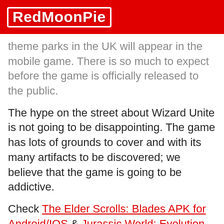RedMoonPie
theme parks in the UK will appear in the mobile game. There is so much to expect before the game is officially released to the public.
The hype on the street about Wizard Unite is not going to be disappointing. The game has lots of grounds to cover and with its many artifacts to be discovered; we believe that the game is going to be addictive.
Check The Elder Scrolls: Blades APK for Android/IOS & Jurassic World: Evolution APK for Android/IOS
Final thoughts
Millions of players around the world are anticipating the Harry Potter: Wizard Unite, where